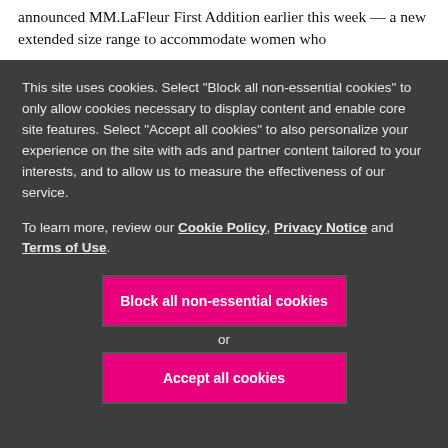announced MM.LaFleur First Addition earlier this week — a new extended size range to accommodate women who
This site uses cookies. Select "Block all non-essential cookies" to only allow cookies necessary to display content and enable core site features. Select "Accept all cookies" to also personalize your experience on the site with ads and partner content tailored to your interests, and to allow us to measure the effectiveness of our service.
To learn more, review our Cookie Policy, Privacy Notice and Terms of Use.
Block all non-essential cookies
or
Accept all cookies